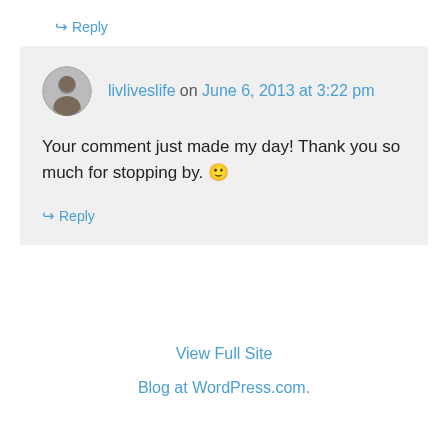↪ Reply
livliveslife on June 6, 2013 at 3:22 pm
Your comment just made my day! Thank you so much for stopping by. 🙂
↪ Reply
View Full Site
Blog at WordPress.com.